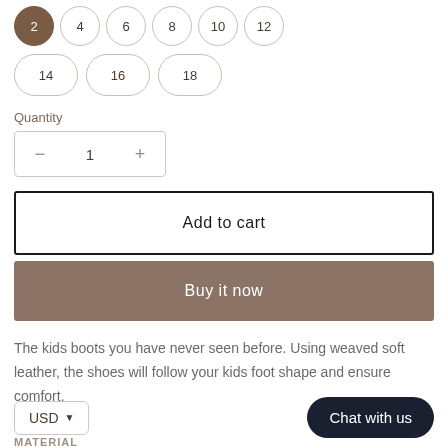[Figure (screenshot): E-commerce product page showing size selector buttons (2 selected in brown, 4, 6, 8, 10, 12 in row 1; 14, 16, 18 pill-shaped in row 2), quantity control showing 1, Add to cart button, Buy it now button, product description text, USD currency selector, Chat with us button, and MATERIAL label.]
Quantity
Add to cart
Buy it now
The kids boots you have never seen before. Using weaved soft leather, the shoes will follow your kids foot shape and ensure comfort.
USD
Chat with us
MATERIAL